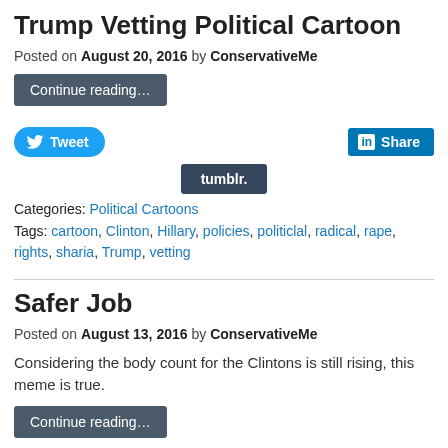Trump Vetting Political Cartoon
Posted on August 20, 2016 by ConservativeMe
Continue reading…
Tweet | Share | tumblr.
Categories: Political Cartoons
Tags: cartoon, Clinton, Hillary, policies, politiclal, radical, rape, rights, sharia, Trump, vetting
Safer Job
Posted on August 13, 2016 by ConservativeMe
Considering the body count for the Clintons is still rising, this meme is true.
Continue reading…
Tweet | Share | tumblr.
Categories: left Wing, Politics, United States